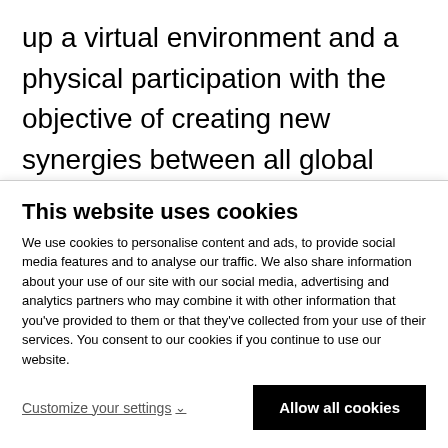up a virtual environment and a physical participation with the objective of creating new synergies between all global connection channels in order to increase the opportunities for interaction, internationalization and business.

In this context, VBBFW provides the bridal community with the largest digital platform of bridal f...
This website uses cookies
We use cookies to personalise content and ads, to provide social media features and to analyse our traffic. We also share information about your use of our site with our social media, advertising and analytics partners who may combine it with other information that you've provided to them or that they've collected from your use of their services. You consent to our cookies if you continue to use our website.
Customize your settings
Allow all cookies